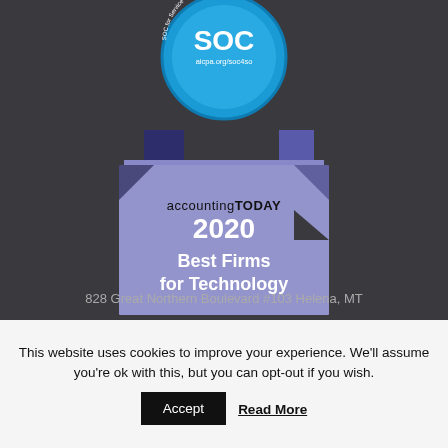[Figure (logo): SOC (aicpa.org/soc4so) circular blue badge for Service Organizations]
[Figure (logo): Accounting Today 2020 Best Firms for Technology ribbon/banner award badge in purple/periwinkle color]
828 Great Northern Boulevard #103 Helena, MT
This website uses cookies to improve your experience. We'll assume you're ok with this, but you can opt-out if you wish.
Accept
Read More